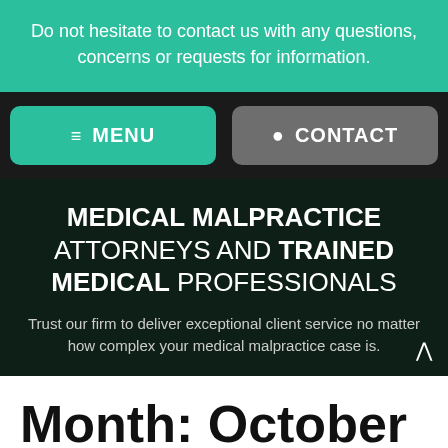Do not hesitate to contact us with any questions, concerns or requests for information.
≡ MENU
📍 CONTACT
MEDICAL MALPRACTICE ATTORNEYS AND TRAINED MEDICAL PROFESSIONALS
Trust our firm to deliver exceptional client service no matter how complex your medical malpractice case is.
Month: October